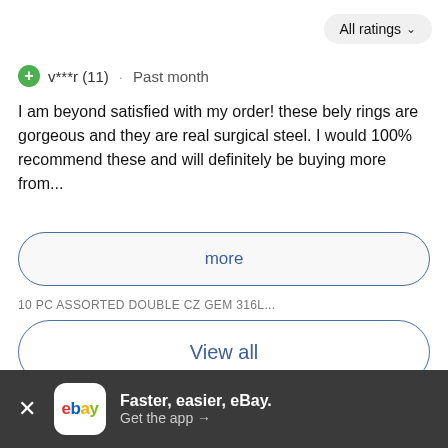All ratings
v***r (11) · Past month
I am beyond satisfied with my order! these bely rings are gorgeous and they are real surgical steel. I would 100% recommend these and will definitely be buying more from...
more
10 PC ASSORTED DOUBLE CZ GEM 316L...
View all
Financing
Faster, easier, eBay. Get the app →